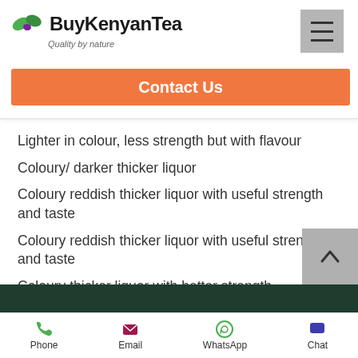BuyKenyanTea — Quality by nature
Contact Us
Lighter in colour, less strength but with flavour
Coloury/ darker thicker liquor
Coloury reddish thicker liquor with useful strength and taste
Coloury reddish thicker liquor with useful strength and taste
Coloury thicker liquor with better strength
Phone  Email  WhatsApp  Chat